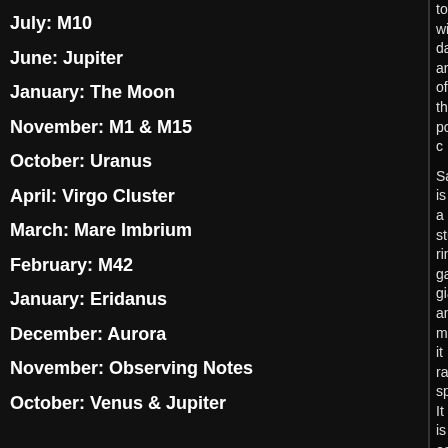July: M10
June: Jupiter
January: The Moon
November: M1 & M15
October: Uranus
April: Virgo Cluster
March: Mare Imbrium
February: M42
January: Eridanus
December: Aurora
November: Observing Notes
October: Venus & Jupiter
together with darker area of the polar c...
Saturn is a stunning ringed gas giant an... making it rather spectacular. It is easily... easily found. Even in the poor condition...
Bob Sayer
[Figure (photo): Dark astronomical image, likely a photo of a celestial object, in the lower right of the right column]